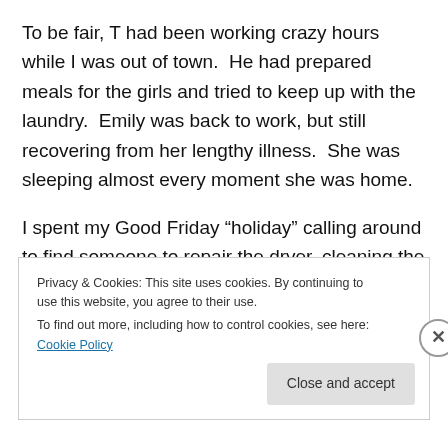To be fair, T had been working crazy hours while I was out of town.  He had prepared meals for the girls and tried to keep up with the laundry.  Emily was back to work, but still recovering from her lengthy illness.  She was sleeping almost every moment she was home.
I spent my Good Friday “holiday” calling around to find someone to repair the dryer, cleaning the house, and fighting traffic and crowds to buy groceries for my family.  That evening I readied the house for company and the holiday.  By the time I sat down late at night, I realized that
Privacy & Cookies: This site uses cookies. By continuing to use this website, you agree to their use.
To find out more, including how to control cookies, see here: Cookie Policy